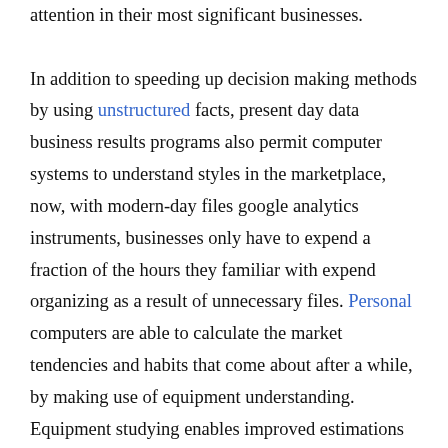attention in their most significant businesses. In addition to speeding up decision making methods by using unstructured facts, present day data business results programs also permit computer systems to understand styles in the marketplace, now, with modern-day files google analytics instruments, businesses only have to expend a fraction of the hours they familiar with expend organizing as a result of unnecessary files. Personal computers are able to calculate the market tendencies and habits that come about after a while, by making use of equipment understanding. Equipment studying enables improved estimations than these expressed by mankind. Organizations have